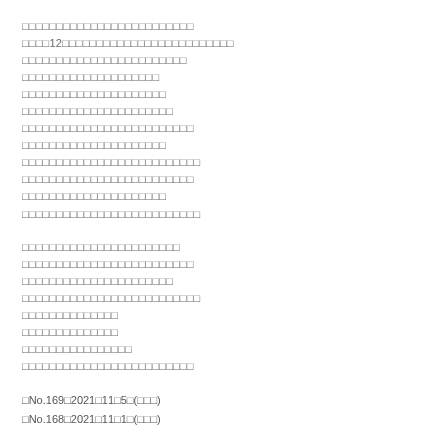□□□□□□□□□□□□□□□□□□□□□□□□□□□□□□□□□12□□□□□□□□□□□□□□□□□□□□□□□□□□□□□□□□□□□□□□□□□□□□□□□□□□□□□□□□□□□□□□□□□□□□□□□□□□□□□□□□□□□□□□□□□□□□□□□□□□□□□□□□□□□□□□□□□□□□□□□□□□□□□□□□□□□□□□□□□□□□□□□□□□□□□□□□□□□□□□□□□□□□□□□□□□□□□□□□□□□□□□□□□□□□□□□□□□□□□□□□□□□□□□□□□□□□□□□□□□□□□□□□□□□□□□□□□□□□□□□□□□□□□□□□□□□
□□□□□□□□□□□□□□□□□□□□□□□□□□□□□□□□□□□□□□□□□□□□□□□□□□□□□□□□□□□□□□□□□□□□□□□□□□□□□□□□□□□□□□□□□□□□□□□□□□□□□□□□□□□□□□□□□□□□□□□□□□□□□□□□□□□□□□□□□□□□□□□□□□□□□□□□□□□□
□No.169□2021□11□5□(□□□)
□No.168□2021□11□1□(□□□)